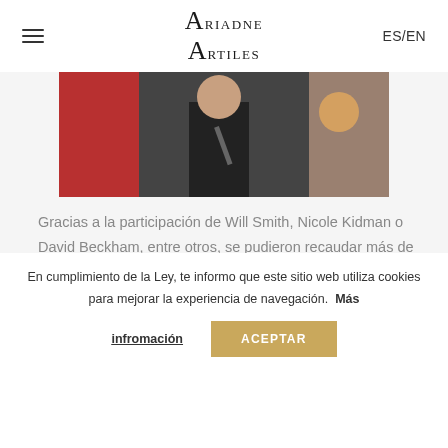Ariadne Artiles  ES/EN
[Figure (photo): Group of people at an event, one person wearing red and another in a tuxedo holding a microphone]
Gracias a la participación de Will Smith, Nicole Kidman o David Beckham, entre otros, se pudieron recaudar más de 170 millones de euros.
♥♥ ♥
En cumplimiento de la Ley, te informo que este sitio web utiliza cookies para mejorar la experiencia de navegación. Más infromación ACEPTAR